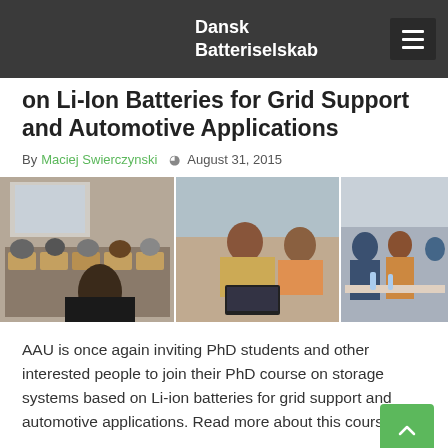Dansk Batteriselskab
on Li-Ion Batteries for Grid Support and Automotive Applications
By Maciej Swierczynski  August 31, 2015
[Figure (photo): Three-panel composite photograph of a classroom/seminar setting with students and attendees at a PhD course on Li-ion batteries]
AAU is once again inviting PhD students and other interested people to join their PhD course on storage systems based on Li-ion batteries for grid support and automotive applications. Read more about this course.
AAU, grid, phd course, storage